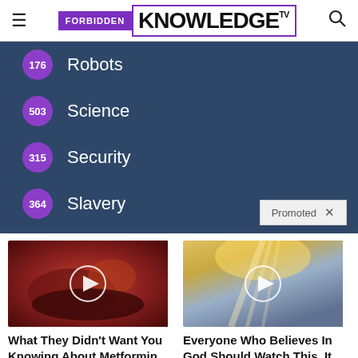Forbidden Knowledge TV
176 Robots
503 Science
315 Security
364 Slavery
438 Smart?
[Figure (screenshot): Promoted ad: What They Didn't Want You Knowing About Metformin – video thumbnail with play button]
What They Didn't Want You Knowing About Metformin
Watch The Video
[Figure (screenshot): Promoted ad: Everyone Who Believes In God Should Watch This. It Will Blow Your Mind – video thumbnail with play button]
Everyone Who Believes In God Should Watch This. It Will Blow Your Mind
Watch The Video